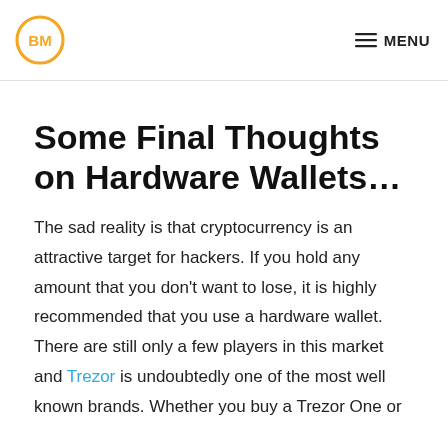BM logo | MENU
Some Final Thoughts on Hardware Wallets…
The sad reality is that cryptocurrency is an attractive target for hackers. If you hold any amount that you don't want to lose, it is highly recommended that you use a hardware wallet. There are still only a few players in this market and Trezor is undoubtedly one of the most well known brands. Whether you buy a Trezor One or